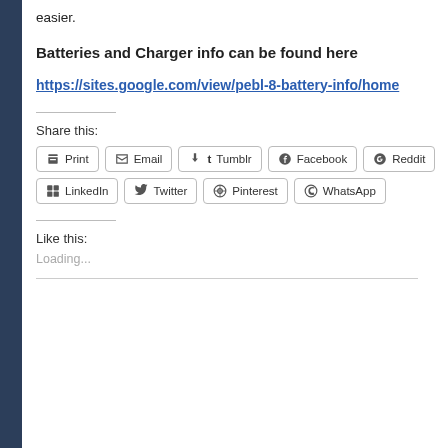easier.
Batteries and Charger info can be found here
https://sites.google.com/view/pebl-8-battery-info/home
Share this:
Print | Email | Tumblr | Facebook | Reddit | LinkedIn | Twitter | Pinterest | WhatsApp
Like this:
Loading...